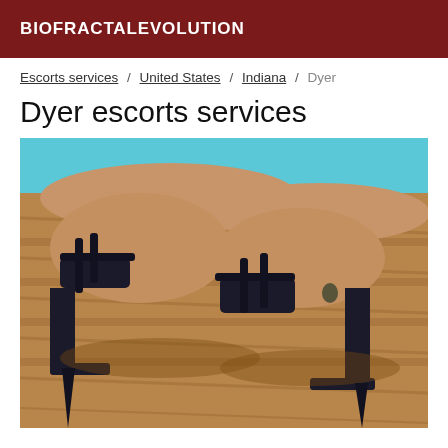BIOFRACTALEVOLUTION
Escorts services / United States / Indiana / Dyer
Dyer escorts services
[Figure (photo): Close-up photo of a person's feet wearing black high-heeled strappy sandals, resting on a wooden surface with a blue background visible at top.]